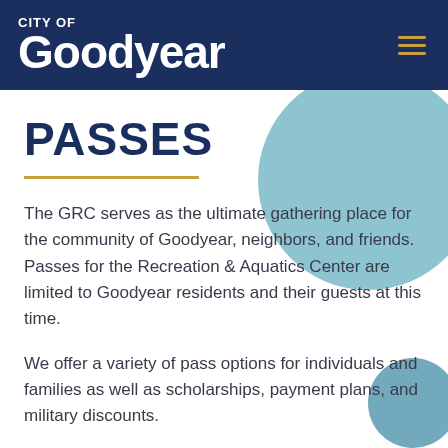CITY OF Goodyear
PASSES
The GRC serves as the ultimate gathering place for the community of Goodyear, neighbors, and friends. Passes for the Recreation & Aquatics Center are limited to Goodyear residents and their guests at this time.
We offer a variety of pass options for individuals and families as well as scholarships, payment plans, and military discounts.